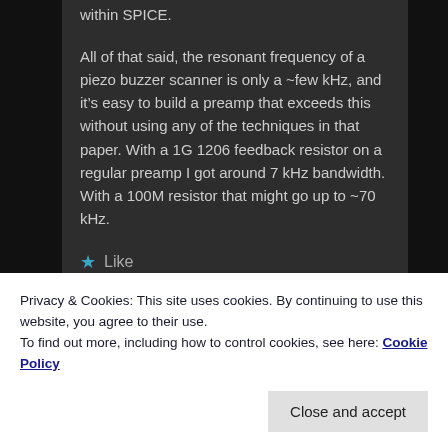within SPICE.
All of that said, the resonant frequency of a piezo buzzer scanner is only a ~few kHz, and it's easy to build a preamp that exceeds this without using any of the techniques in that paper. With a 1G 1206 feedback resistor on a regular preamp I got around 7 kHz bandwidth. With a 100M resistor that might go up to ~70 kHz.
Like
Privacy & Cookies: This site uses cookies. By continuing to use this website, you agree to their use.
To find out more, including how to control cookies, see here: Cookie Policy